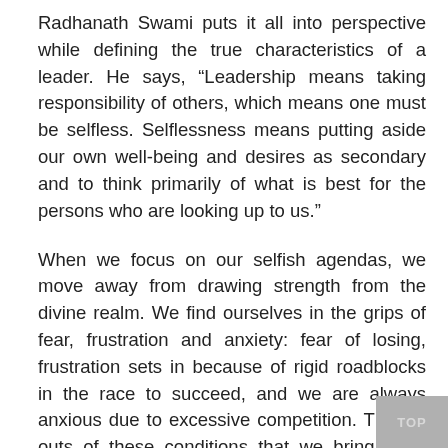Radhanath Swami puts it all into perspective while defining the true characteristics of a leader. He says, “Leadership means taking responsibility of others, which means one must be selfless. Selflessness means putting aside our own well-being and desires as secondary and to think primarily of what is best for the persons who are looking up to us.”
When we focus on our selfish agendas, we move away from drawing strength from the divine realm. We find ourselves in the grips of fear, frustration and anxiety: fear of losing, frustration sets in because of rigid roadblocks in the race to succeed, and we are always anxious due to excessive competition. The fall outs of these conditions that we bring upon ourselves have far-reaching effects on our physical, emotional, mental and spiritual well-being. However, when we focus on executing our job as a selfless service to others, for their welfare, we draw strength from the divine realm, we find